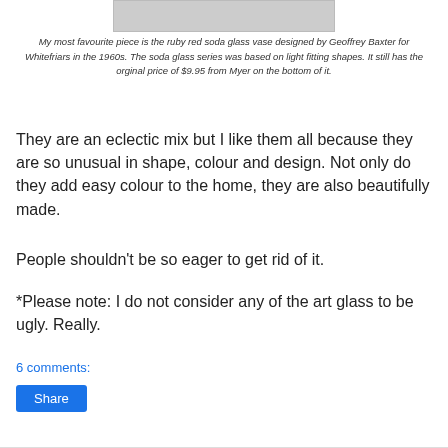[Figure (photo): Partial image of a glass vase, cropped at top]
My most favourite piece is the ruby red soda glass vase designed by Geoffrey Baxter for Whitefriars in the 1960s. The soda glass series was based on light fitting shapes. It still has the orginal price of $9.95 from Myer on the bottom of it.
They are an eclectic mix but I like them all because they are so unusual in shape, colour and design. Not only do they add easy colour to the home, they are also beautifully made.
People shouldn't be so eager to get rid of it.
*Please note: I do not consider any of the art glass to be ugly. Really.
6 comments:
Share